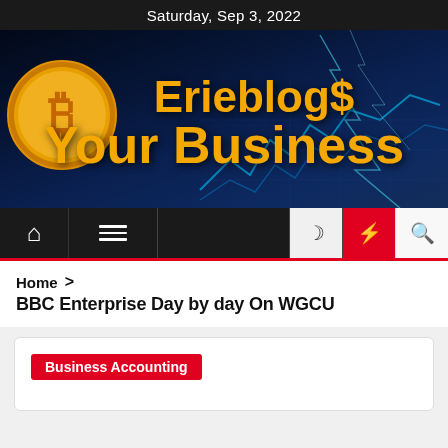Saturday, Sep 3, 2022
[Figure (logo): Erieblog$ Your Business banner with Bitcoin coin graphic, lightning background, and stock chart lines on dark blue background]
[Figure (screenshot): Navigation bar with home icon, menu icon, dark mode icon, lightning/featured icon (red), and search icon]
Home > BBC Enterprise Day by day On WGCU
Business Accounting